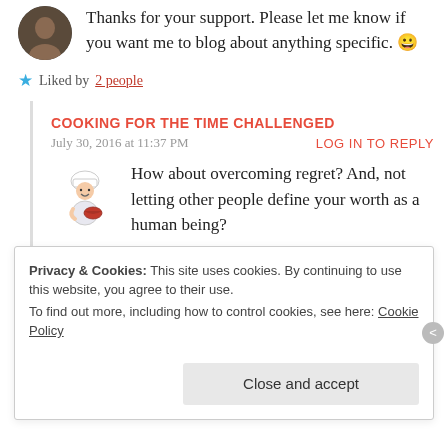Thanks for your support. Please let me know if you want me to blog about anything specific. 😀
Liked by 2 people
COOKING FOR THE TIME CHALLENGED
July 30, 2016 at 11:37 PM
LOG IN TO REPLY
How about overcoming regret? And, not letting other people define your worth as a human being?
Liked by 1 person
Privacy & Cookies: This site uses cookies. By continuing to use this website, you agree to their use.
To find out more, including how to control cookies, see here: Cookie Policy